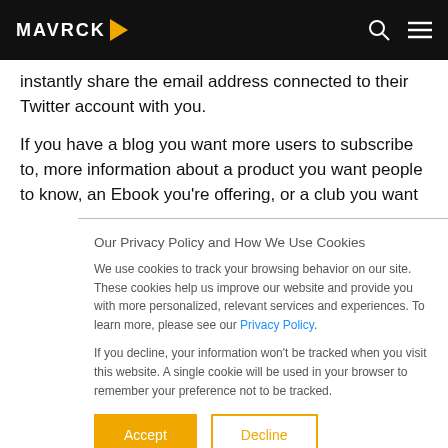MAVRCK
instantly share the email address connected to their Twitter account with you.
If you have a blog you want more users to subscribe to, more information about a product you want people to know, an Ebook you’re offering, or a club you want
Our Privacy Policy and How We Use Cookies
We use cookies to track your browsing behavior on our site. These cookies help us improve our website and provide you with more personalized, relevant services and experiences. To learn more, please see our Privacy Policy.
If you decline, your information won’t be tracked when you visit this website. A single cookie will be used in your browser to remember your preference not to be tracked.
Accept
Decline